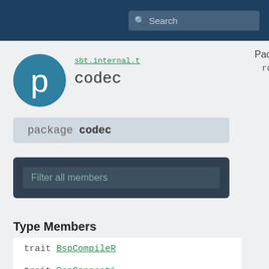Search
[Figure (screenshot): Circular logo with letter p on teal/dark blue background]
sbt.internal.t
codec
package  codec
Filter all members
Type Members
trait BspCompileR
trait BspConnecti
Packages
root
sbt
internal
bsp
codec
BspCompileResultFormats
BspConnectionDetailsFormats
BuildClientCapabilitiesFormats
BuildServerCapabilitiesFormats
BuildTargetCapabilitiesFormats
BuildTargetFormats